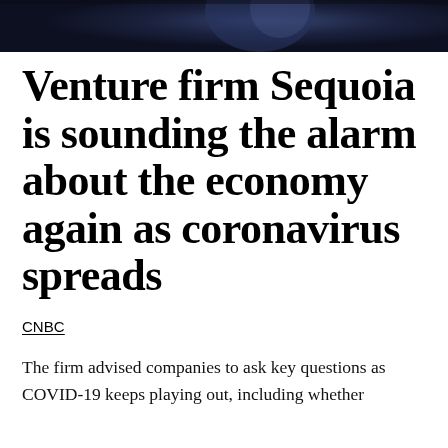[Figure (photo): Dark photograph at top of article, appears to show a person or figure in dim lighting with blue/dark tones]
Venture firm Sequoia is sounding the alarm about the economy again as coronavirus spreads
CNBC
The firm advised companies to ask key questions as COVID-19 keeps playing out, including whether